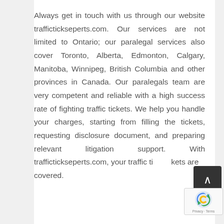Always get in touch with us through our website traffictickseperts.com. Our services are not limited to Ontario; our paralegal services also cover Toronto, Alberta, Edmonton, Calgary, Manitoba, Winnipeg, British Columbia and other provinces in Canada. Our paralegals team are very competent and reliable with a high success rate of fighting traffic tickets. We help you handle your charges, starting from filling the tickets, requesting disclosure document, and preparing relevant litigation support. With traffictickseperts.com, your traffic tickets are covered.